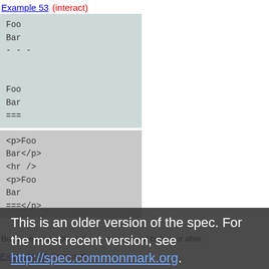Example 53  (interact)
Foo
Bar
- - -

Foo
Bar
===
<p>Foo
Bar</p>
<hr />
<p>Foo
Bar
===</p>
This is an older version of the spec. For the most recent version, see http://spec.commonmark.org.
But in general a blank line is not required before or after:
Example 54  (interact)